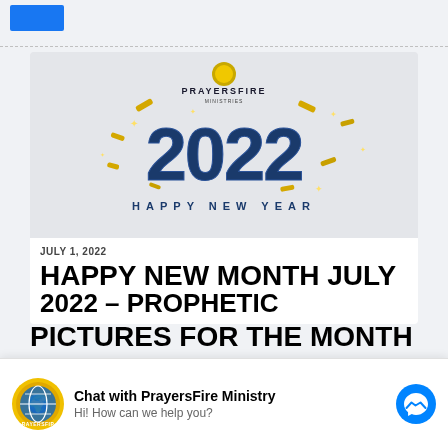[Figure (illustration): Blue square logo placeholder in top bar]
[Figure (illustration): PrayersFire Ministries Happy New Year 2022 banner image with gold confetti and large blue '2022' text on grey background, with 'HAPPY NEW YEAR' text below]
JULY 1, 2022
HAPPY NEW MONTH JULY 2022 – PROPHETIC PICTURES FOR THE MONTH
[Figure (screenshot): Facebook Messenger chat widget: 'Chat with PrayersFire Ministry' / 'Hi! How can we help you?' with PrayersFire logo and Messenger icon]